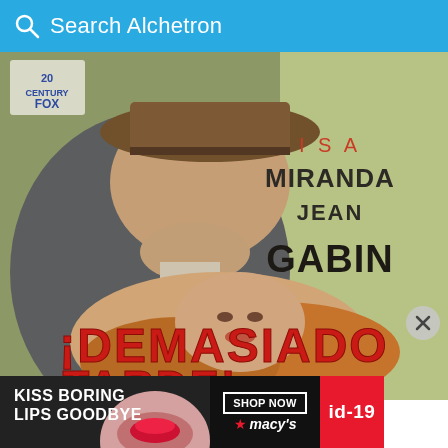Search Alchetron
[Figure (photo): Vintage Spanish movie poster for '¡Demasiado tarde!' featuring actors Isa Miranda and Jean Gabin in a romantic/dramatic pose. A man in a fedora hat leans over a woman with flowing hair. The names ISA MIRANDA JEAN GABIN appear in the upper right. The movie title '¡DEMASIADO...' appears in large red text at the bottom. A 20th Century Fox logo appears in the upper left corner.]
[Figure (screenshot): Advertisement banner at the bottom of the screen. Left portion has a dark background with white bold text reading 'KISS BORING LIPS GOODBYE' with a woman's face with red lips visible. Middle section shows a 'SHOP NOW' button and a Macy's logo with red star. Right portion is a red block with white text reading 'id-19'.]